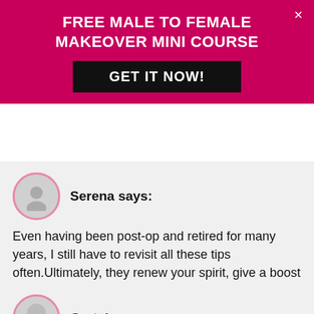FREE MALE TO FEMALE MAKEOVER MINI COURSE
GET IT NOW!
Serena says:
Even having been post-op and retired for many years, I still have to revisit all these tips often.Ultimately, they renew your spirit, give a boost to your self-image and remind you of how special it is to be a woman.
Reply
Gretchen says: